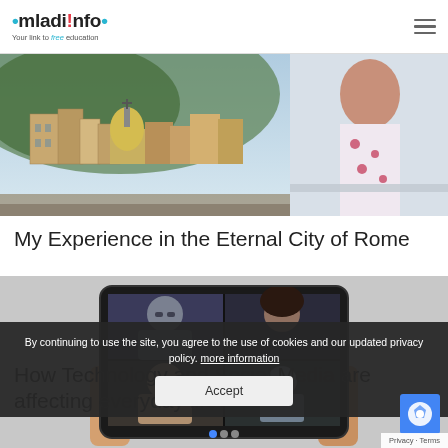mladi!nfo · Your link to free education
[Figure (photo): Aerial view of Rome rooftops with domed church and a woman in floral dress standing on a terrace overlooking the city]
My Experience in the Eternal City of Rome
[Figure (photo): Person holding a tablet showing a video call with four young people on screen]
How Technology and Social Media are affecting everyday life?
By continuing to use the site, you agree to the use of cookies and our updated privacy policy. more information
Accept
Privacy · Terms